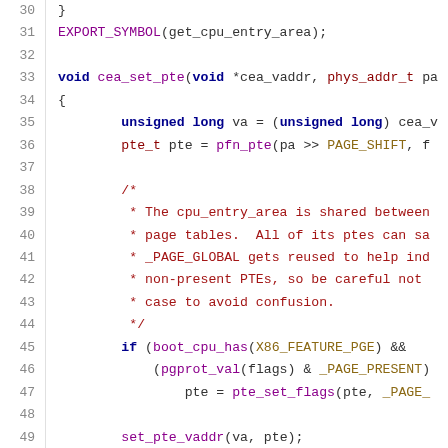[Figure (screenshot): C source code listing showing lines 30-51 of a Linux kernel file, with syntax highlighting. Line 31: EXPORT_SYMBOL(get_cpu_entry_area); Line 33: void cea_set_pte function definition. Lines 35-36: local variable declarations. Lines 38-44: block comment. Lines 45-47: if statement. Line 49: set_pte_vaddr call. Line 50: closing brace.]